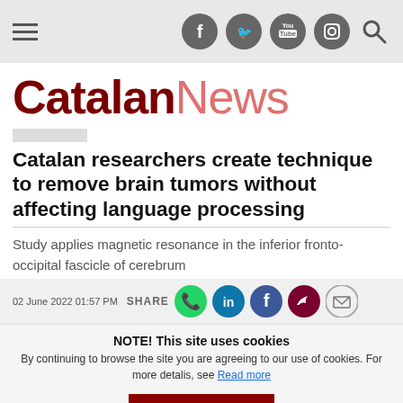Catalan News - navigation bar with hamburger menu and social icons (Facebook, Twitter, YouTube, Instagram, Search)
CatalanNews
Catalan researchers create technique to remove brain tumors without affecting language processing
Study applies magnetic resonance in the inferior fronto-occipital fascicle of cerebrum
02 June 2022 01:57 PM  SHARE
NOTE! This site uses cookies
By continuing to browse the site you are agreeing to our use of cookies. For more detalis, see Read more
Research led by neu...  who specialize in